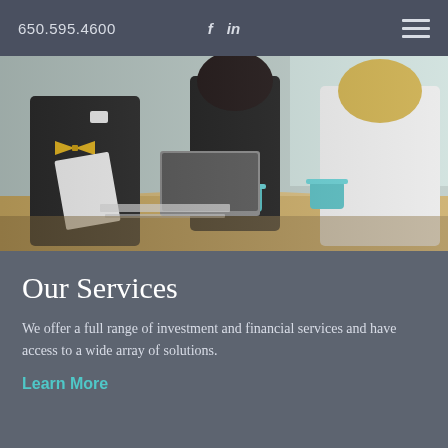650.595.4600
[Figure (photo): Three business professionals sitting around a conference table in a meeting room. A man in a suit with a yellow bow tie reviews documents. Two women, one in a pink blouse and one in a white blouse, are also at the table with coffee mugs and laptops.]
Our Services
We offer a full range of investment and financial services and have access to a wide array of solutions.
Learn More